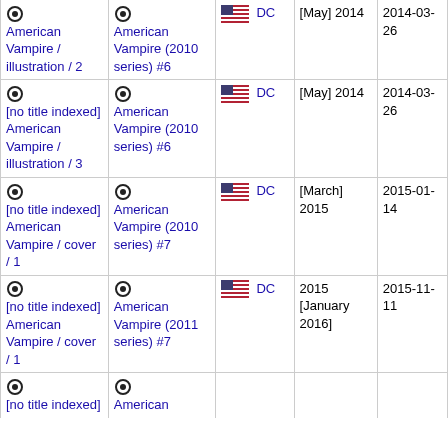| Work | Publication | Publisher | Date | Added |
| --- | --- | --- | --- | --- |
| [no title indexed] American Vampire / illustration / 2 | American Vampire (2010 series) #6 | DC | [May] 2014 | 2014-03-26 |
| [no title indexed] American Vampire / illustration / 3 | American Vampire (2010 series) #6 | DC | [May] 2014 | 2014-03-26 |
| [no title indexed] American Vampire / cover / 1 | American Vampire (2010 series) #7 | DC | [March] 2015 | 2015-01-14 |
| [no title indexed] American Vampire / cover / 1 | American Vampire (2011 series) #7 | DC | 2015 [January 2016] | 2015-11-11 |
| [no title indexed] | American | DC |  |  |